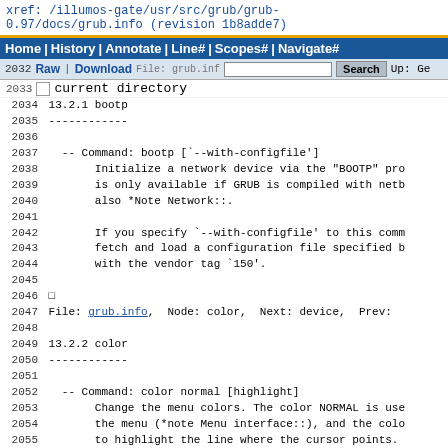xref: /illumos-gate/usr/src/grub/grub-0.97/docs/grub.info (revision 1b8adde7)
Home | History | Annotate | Line# | Scopes# | Navigate#
Raw | Download  [search input]  Search  Up: Ge
current directory
2032
2033
2034  13.2.1 bootp
2035  ------------
2036
2037    -- Command: bootp [`--with-configfile']
2038         Initialize a network device via the "BOOTP" pro
2039         is only available if GRUB is compiled with netb
2040         also *Note Network::.
2041
2042         If you specify `--with-configfile' to this comm
2043         fetch and load a configuration file specified b
2044         with the vendor tag `150'.
2045
2046  □
2047  File: grub.info,  Node: color,  Next: device,  Prev:
2048
2049  13.2.2 color
2050  ------------
2051
2052    -- Command: color normal [highlight]
2053         Change the menu colors. The color NORMAL is use
2054         the menu (*note Menu interface::), and the colo
2055         to highlight the line where the cursor points.
2056         HIGHLIGHT, then the inverted color of NORMAL is